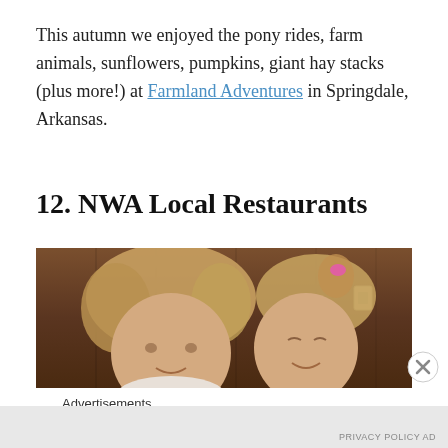This autumn we enjoyed the pony rides, farm animals, sunflowers, pumpkins, giant hay stacks (plus more!) at Farmland Adventures in Springdale, Arkansas.
12. NWA Local Restaurants
[Figure (photo): Two young blonde girls sitting close together, smiling at the camera in front of a wooden background. The girl on the left has curly hair and the girl on the right has hair in a small ponytail with a pink hair tie.]
Advertisements